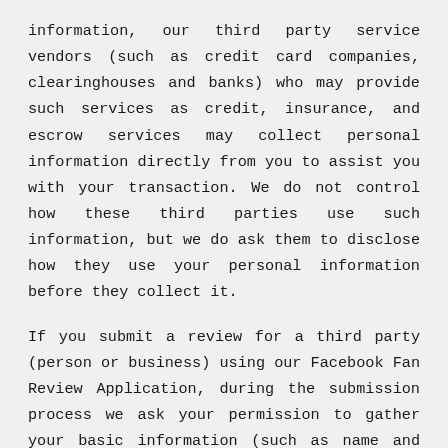information, our third party service vendors (such as credit card companies, clearinghouses and banks) who may provide such services as credit, insurance, and escrow services may collect personal information directly from you to assist you with your transaction. We do not control how these third parties use such information, but we do ask them to disclose how they use your personal information before they collect it.
If you submit a review for a third party (person or business) using our Facebook Fan Review Application, during the submission process we ask your permission to gather your basic information (such as name and email address) which we then share with the third party for whom you are submitting the review. We may be legally compelled to release your personal information in